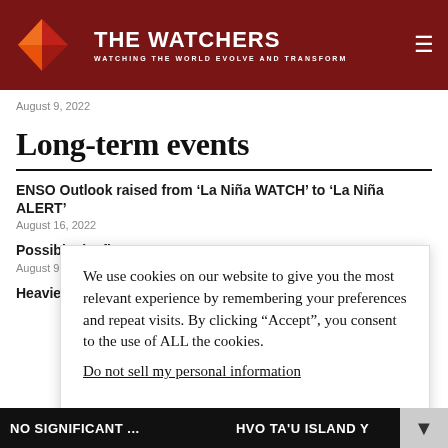THE WATCHERS — WATCHING THE WORLD EVOLVE AND TRANSFORM
August 9, 2022
Long-term events
ENSO Outlook raised from 'La Niña WATCH' to 'La Niña ALERT'
August 16, 2022
Possibly the first e... years, Japan
August 9, 2022
Heaviest rainfall i... 7 others missing, S...
We use cookies on our website to give you the most relevant experience by remembering your preferences and repeat visits. By clicking "Accept", you consent to the use of ALL the cookies.
Do not sell my personal information.
Cookie settings  Accept
NO SIGNIFICANT ...   HVO TA'U ISLAND Y